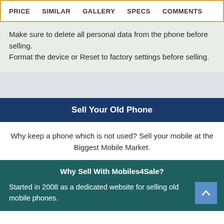PRICE  SIMILAR  GALLERY  SPECS  COMMENTS
Make sure to delete all personal data from the phone before selling.
Format the device or Reset to factory settings before selling.
Sell Your Old Phone
Why keep a phone which is not used? Sell your mobile at the Biggest Mobile Market.
Why Sell With Mobiles4Sale?
Started in 2008 as a dedicated website for selling old mobile phones.